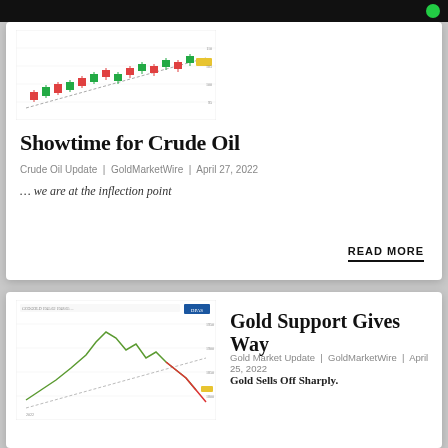[Figure (other): Candlestick/OHLC chart for Crude Oil with green and red candles and a rising trendline]
Showtime for Crude Oil
Crude Oil Update | GoldMarketWire | April 27, 2022
… we are at the inflection point
READ MORE
[Figure (line-chart): Gold price line chart showing a peak and decline, with a rising trendline broken downward]
Gold Support Gives Way
Gold Market Update | GoldMarketWire | April 25, 2022
Gold Sells Off Sharply.